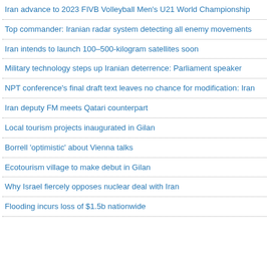Iran advance to 2023 FIVB Volleyball Men's U21 World Championship
Top commander: Iranian radar system detecting all enemy movements
Iran intends to launch 100–500-kilogram satellites soon
Military technology steps up Iranian deterrence: Parliament speaker
NPT conference's final draft text leaves no chance for modification: Iran
Iran deputy FM meets Qatari counterpart
Local tourism projects inaugurated in Gilan
Borrell 'optimistic' about Vienna talks
Ecotourism village to make debut in Gilan
Why Israel fiercely opposes nuclear deal with Iran
Flooding incurs loss of $1.5b nationwide